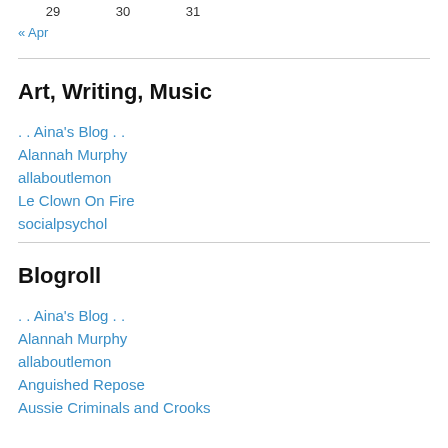29   30   31
« Apr
Art, Writing, Music
. . Aina's Blog . .
Alannah Murphy
allaboutlemon
Le Clown On Fire
socialpsychol
Blogroll
. . Aina's Blog . .
Alannah Murphy
allaboutlemon
Anguished Repose
Aussie Criminals and Crooks